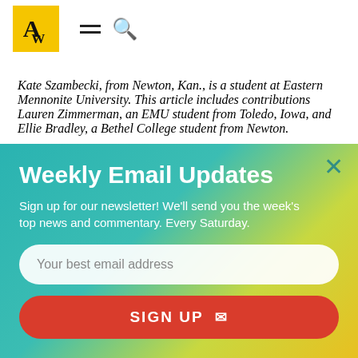AW [logo] ≡ 🔍
Kate Szambecki, from Newton, Kan., is a student at Eastern Mennonite University. This article includes contributions Lauren Zimmerman, an EMU student from Toledo, Iowa, and Ellie Bradley, a Bethel College student from Newton.
Weekly Email Updates
Sign up for our newsletter! We'll send you the week's top news and commentary. Every Saturday.
Your best email address
SIGN UP